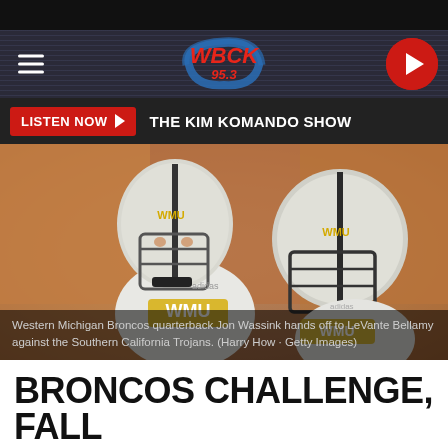[Figure (screenshot): WBCK 95.3 FM radio station website header with logo, hamburger menu, and play button]
LISTEN NOW  THE KIM KOMANDO SHOW
[Figure (photo): Western Michigan Broncos quarterback Jon Wassink hands off to LeVante Bellamy against the Southern California Trojans. (Harry How · Getty Images)]
Western Michigan Broncos quarterback Jon Wassink hands off to LeVante Bellamy against the Southern California Trojans. (Harry How · Getty Images)
BRONCOS CHALLENGE, FALL